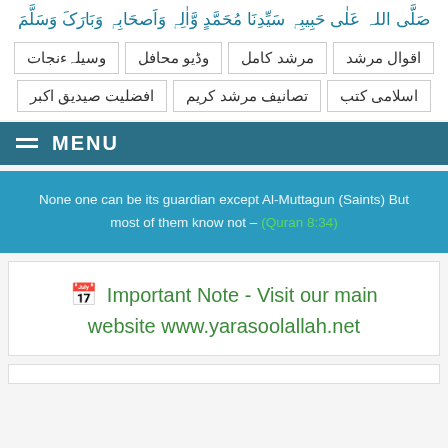صَلَّى اللہ عَلٰی حَبِیبِہٖ سَیِّدِنَا مُحَمَّدٍ وَّاٰلِہٖ وَاَصحَابِہٖ وَبَارَکَ وَسَلَّمَ
وسیلہءنجات
وڈیو محافل
مرشد کامل
اقوال مرشد
افضلیت صیدیق اکبر
تصانیف مرشد کریم
اسلامی کتب
≡ MENU
None one can be its guardian except Al-Muttagun (Saints) But most of them know not - (Quran 8:34)
🗓 Important Note - Visit our main website www.yarasoolallah.net